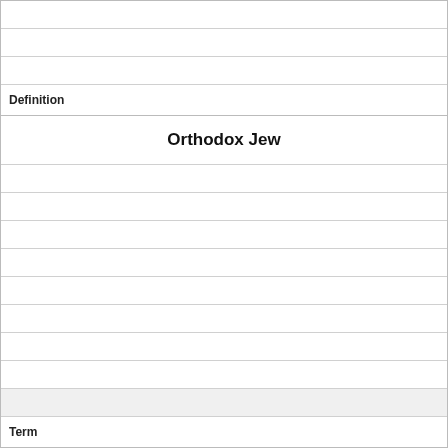Definition
Orthodox Jew
Term
Fuchs always considered the Bible the _______ (from a creative and expressive standpoint)